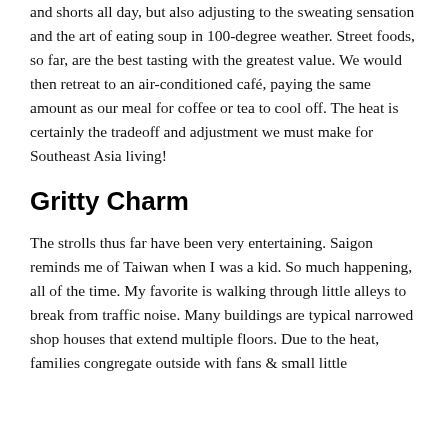and shorts all day, but also adjusting to the sweating sensation and the art of eating soup in 100-degree weather. Street foods, so far, are the best tasting with the greatest value. We would then retreat to an air-conditioned café, paying the same amount as our meal for coffee or tea to cool off. The heat is certainly the tradeoff and adjustment we must make for Southeast Asia living!
Gritty Charm
The strolls thus far have been very entertaining. Saigon reminds me of Taiwan when I was a kid. So much happening, all of the time. My favorite is walking through little alleys to break from traffic noise. Many buildings are typical narrowed shop houses that extend multiple floors. Due to the heat, families congregate outside with fans & small little